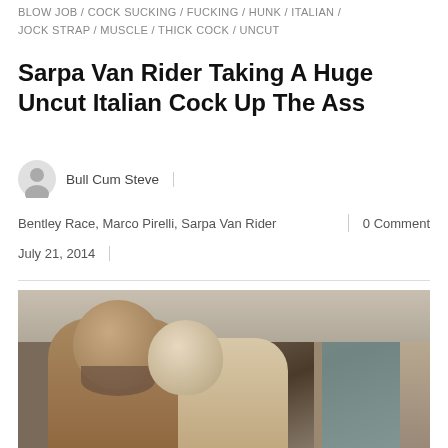BLOW JOB / COCK SUCKING / FUCKING / HUNK / ITALIAN / JOCK STRAP / MUSCLE / THICK COCK / UNCUT
Sarpa Van Rider Taking A Huge Uncut Italian Cock Up The Ass
Bull Cum Steve
Bentley Race, Marco Pirelli, Sarpa Van Rider | 0 Comment
July 21, 2014
[Figure (photo): Two men posing together indoors, one bald with a beard, one with lighter hair, in what appears to be a bathroom or spa setting]